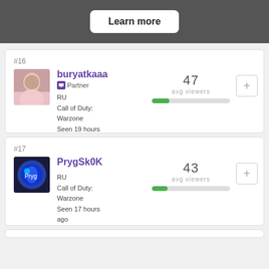[Figure (screenshot): Learn more button on dark banner]
#16
[Figure (photo): Avatar photo of buryatkaaa streamer]
buryatkaaa
Partner
RU
Call of Duty: Warzone
Seen 19 hours ago
47
avg viewers
#17
[Figure (logo): Avatar logo of PrygSk0K streamer]
PrygSk0K
RU
Call of Duty: Warzone
Seen 17 hours ago
43
avg viewers